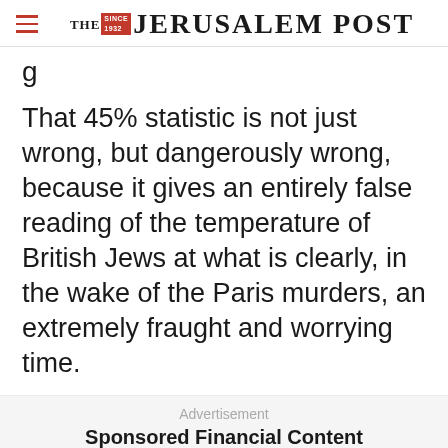THE JERUSALEM POST
That 45% statistic is not just wrong, but dangerously wrong, because it gives an entirely false reading of the temperature of British Jews at what is clearly, in the wake of the Paris murders, an extremely fraught and worrying time.
Advertisement
Sponsored Financial Content
Advertisement